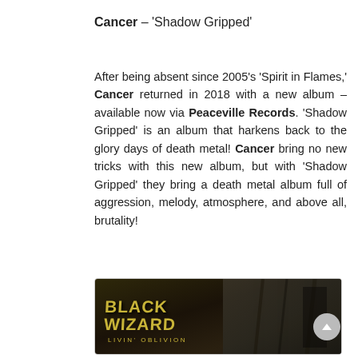Cancer – 'Shadow Gripped'
After being absent since 2005's 'Spirit in Flames,' Cancer returned in 2018 with a new album – available now via Peaceville Records. 'Shadow Gripped' is an album that harkens back to the glory days of death metal! Cancer bring no new tricks with this new album, but with 'Shadow Gripped' they bring a death metal album full of aggression, melody, atmosphere, and above all, brutality!
[Figure (photo): Black Wizard album art banner image showing the band name 'BLACK WIZARD' and album title 'Livin' Oblivion' in stylized yellow text on a dark background with gothic architectural elements on the right side.]